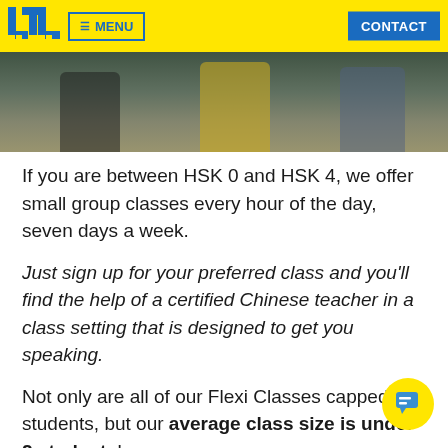LTL | MENU | CONTACT
[Figure (photo): Photo strip showing students, partially cropped, standing together]
If you are between HSK 0 and HSK 4, we offer small group classes every hour of the day, seven days a week.
Just sign up for your preferred class and you'll find the help of a certified Chinese teacher in a class setting that is designed to get you speaking.
Not only are all of our Flexi Classes capped at 5 students, but our average class size is under 2 students!
This means that you will have just one other